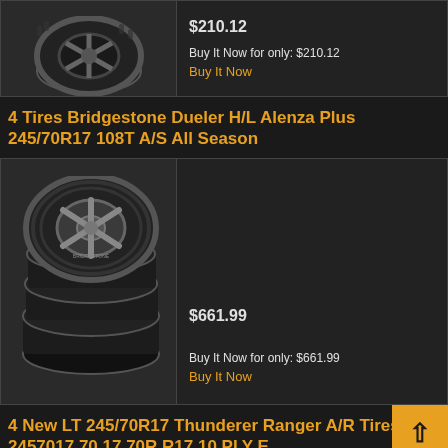[Figure (photo): Partial view of a single tire/wheel product image at the top of the page]
$210.12
Buy It Now for only: $210.12
Buy It Now
4 Tires Bridgestone Dueler H/L Alenza Plus 245/70R17 108T A/S All Season
[Figure (photo): Stack of four Bridgestone Dueler H/L Alenza Plus tires with alloy wheel visible]
$661.99
Buy It Now for only: $661.99
Buy It Now
4 New LT 245/70R17 Thunderer Ranger A/R Tires 2457017 70 17 70R R17 10 PLY E